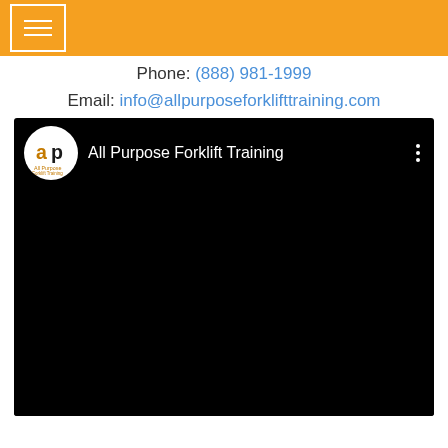Navigation header with hamburger menu on orange background
Phone: (888) 981-1999
Email: info@allpurposeforklifttraining.com
[Figure (screenshot): YouTube-style video embed showing All Purpose Forklift Training channel with black video area, channel logo (ap logo), and three-dot menu icon]